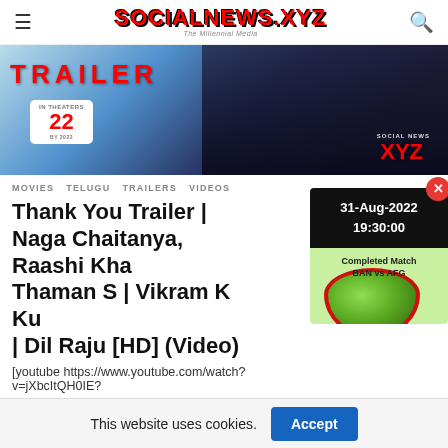SOCIALNEWS.XYZ — The Millennial Media
[Figure (screenshot): Movie trailer banner showing 'TRAILER' text in red, date '22' in a white box, person in dark jacket in snow, and SOCIALNEWS XYZ watermark]
MOVIES   TELUGU   TRAILERS   VIDEOS
Thank You Trailer | Naga Chaitanya, Raashi Khanna, Thaman S | Vikram K Kumar | Dil Raju [HD] (Video)
[youtube https://www.youtube.com/watch?v=jXbcItQH0IE?
[Figure (infographic): Popup showing date 31-Aug-2022 19:30:00 with Completed Match BAN vs AFG cricket widget below, and close button (red X)]
This website uses cookies.  Accept